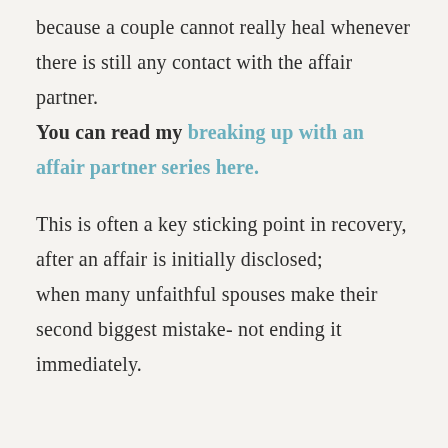because a couple cannot really heal whenever there is still any contact with the affair partner. You can read my breaking up with an affair partner series here.
This is often a key sticking point in recovery, after an affair is initially disclosed; when many unfaithful spouses make their second biggest mistake- not ending it immediately.